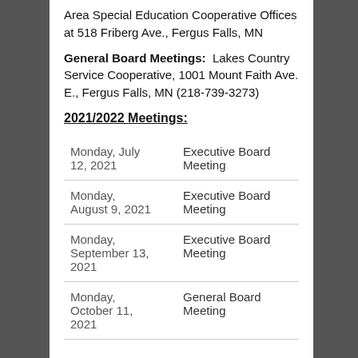Area Special Education Cooperative Offices at 518 Friberg Ave., Fergus Falls, MN
General Board Meetings: Lakes Country Service Cooperative, 1001 Mount Faith Ave. E., Fergus Falls, MN (218-739-3273)
2021/2022 Meetings:
| Date | Meeting Type |
| --- | --- |
| Monday, July 12, 2021 | Executive Board Meeting |
| Monday, August 9, 2021 | Executive Board Meeting |
| Monday, September 13, 2021 | Executive Board Meeting |
| Monday, October 11, 2021 | General Board Meeting |